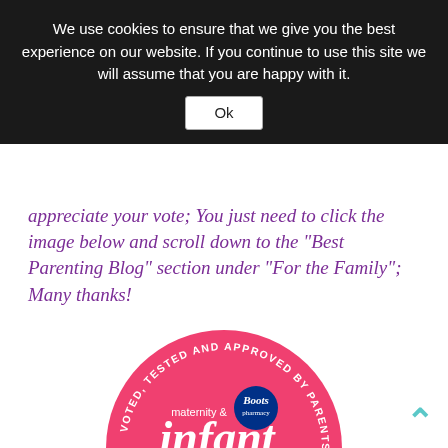We use cookies to ensure that we give you the best experience on our website. If you continue to use this site we will assume that you are happy with it.
Ok
appreciate your vote; You just need to click the image below and scroll down to the “Best Parenting Blog” section under “For the Family”; Many thanks!
[Figure (logo): Maternity & Infant Awards 2015 badge — pink circle with text: VOTED, TESTED AND APPROVED BY PARENTS (curved around top), maternity & infant AWARDS 2015, Vote for me today, WWW.MATERNITYANDINFANT.IE, #mibestparentingblog]
#mibestparentingblog